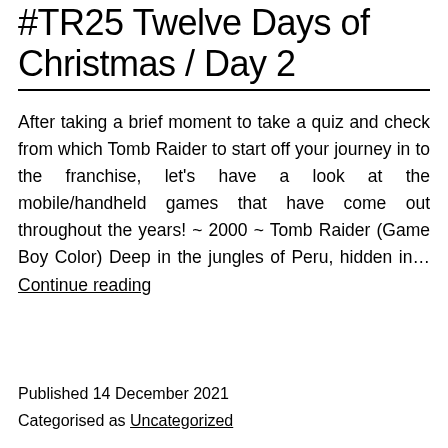#TR25 Twelve Days of Christmas / Day 2
After taking a brief moment to take a quiz and check from which Tomb Raider to start off your journey in to the franchise, let's have a look at the mobile/handheld games that have come out throughout the years! ~ 2000 ~ Tomb Raider (Game Boy Color) Deep in the jungles of Peru, hidden in… Continue reading
Published 14 December 2021
Categorised as Uncategorized